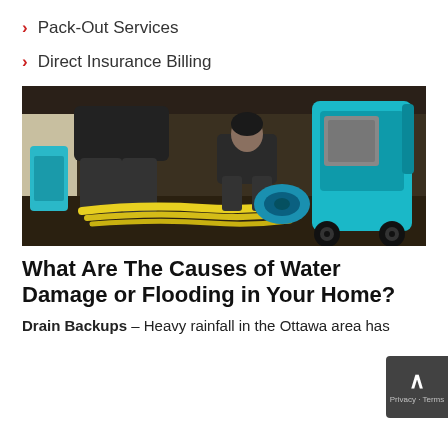Pack-Out Services
Direct Insurance Billing
[Figure (photo): Two workers in dark uniforms crouching on a water-damaged floor using yellow hoses and teal/blue restoration equipment to dry out a flooded room.]
What Are The Causes of Water Damage or Flooding in Your Home?
Drain Backups – Heavy rainfall in the Ottawa area has